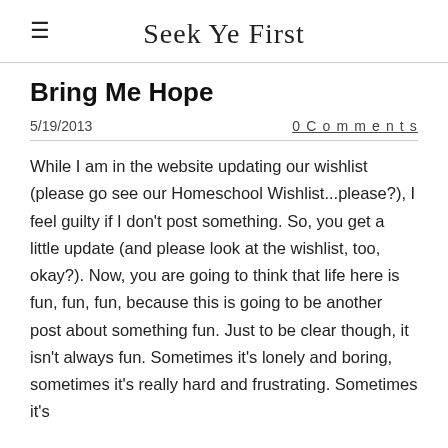≡  Seek Ye First
Bring Me Hope
5/19/2013   0 Comments
While I am in the website updating our wishlist (please go see our Homeschool Wishlist...please?), I feel guilty if I don't post something. So, you get a little update (and please look at the wishlist, too, okay?). Now, you are going to think that life here is fun, fun, fun, because this is going to be another post about something fun. Just to be clear though, it isn't always fun. Sometimes it's lonely and boring, sometimes it's really hard and frustrating. Sometimes it's